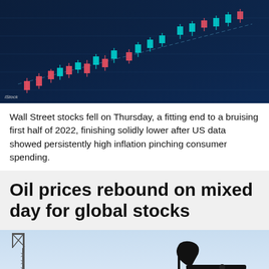[Figure (photo): Stock market candlestick chart on a dark blue digital screen, showing red and cyan/green price bars trending upward. iStock watermark in bottom left.]
Wall Street stocks fell on Thursday, a fitting end to a bruising first half of 2022, finishing solidly lower after US data showed persistently high inflation pinching consumer spending.
Oil prices rebound on mixed day for global stocks
[Figure (photo): Oil pumpjack silhouette against a light blue sky, with a tower crane visible on the left side.]